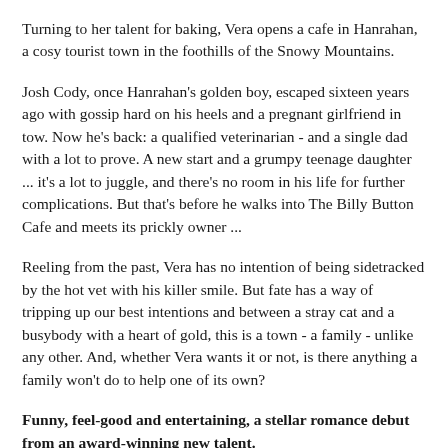Turning to her talent for baking, Vera opens a cafe in Hanrahan, a cosy tourist town in the foothills of the Snowy Mountains.
Josh Cody, once Hanrahan's golden boy, escaped sixteen years ago with gossip hard on his heels and a pregnant girlfriend in tow. Now he's back: a qualified veterinarian - and a single dad with a lot to prove. A new start and a grumpy teenage daughter ... it's a lot to juggle, and there's no room in his life for further complications. But that's before he walks into The Billy Button Cafe and meets its prickly owner ...
Reeling from the past, Vera has no intention of being sidetracked by the hot vet with his killer smile. But fate has a way of tripping up our best intentions and between a stray cat and a busybody with a heart of gold, this is a town - a family - unlike any other. And, whether Vera wants it or not, is there anything a family won't do to help one of its own?
Funny, feel-good and entertaining, a stellar romance debut from an award-winning new talent.